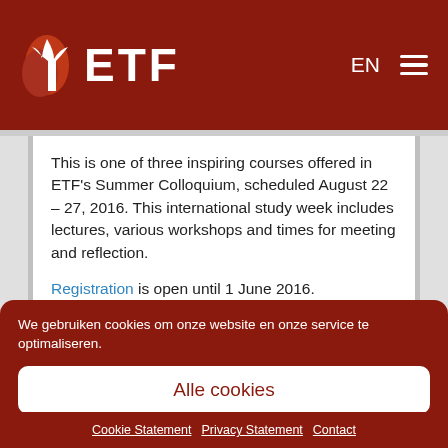ETF
This is one of three inspiring courses offered in ETF's Summer Colloquium, scheduled August 22 – 27, 2016. This international study week includes lectures, various workshops and times for meeting and reflection.

Registration is open until 1 June 2016.
We gebruiken cookies om onze website en onze service te optimaliseren.
Alle cookies
Enkel functionele
Cookie Statement   Privacy Statement   Contact